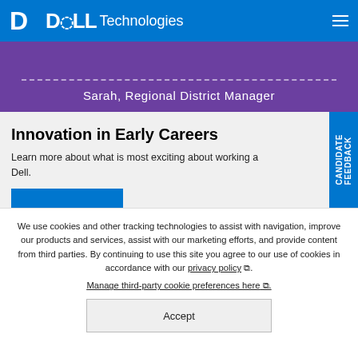Dell Technologies
[Figure (screenshot): Purple banner with dashed border line and text: Sarah, Regional District Manager]
Innovation in Early Careers
Learn more about what is most exciting about working at Dell.
We use cookies and other tracking technologies to assist with navigation, improve our products and services, assist with our marketing efforts, and provide content from third parties. By continuing to use this site you agree to our use of cookies in accordance with our privacy policy. Manage third-party cookie preferences here.
Accept